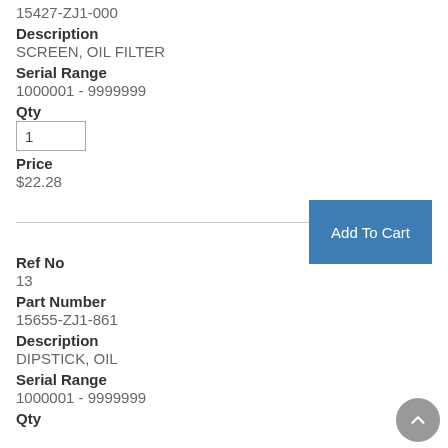15427-ZJ1-000
Description
SCREEN, OIL FILTER
Serial Range
1000001 - 9999999
Qty
1
Price
$22.28
Add To Cart
Ref No
13
Part Number
15655-ZJ1-861
Description
DIPSTICK, OIL
Serial Range
1000001 - 9999999
Qty